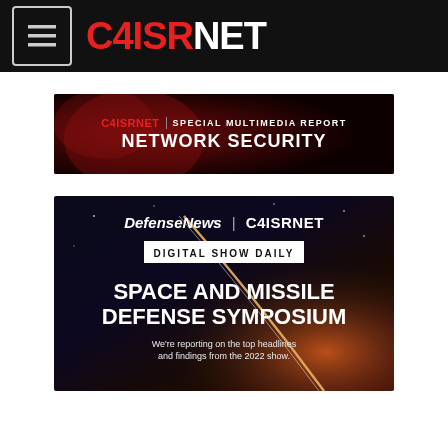C4ISRNET
[Figure (screenshot): C4ISRNET Special Multimedia Report - Network Security banner ad with red smoky background]
[Figure (screenshot): DefenseNews | C4ISRNET Digital Show Daily - Space and Missile Defense Symposium banner ad with rocket launch background. Text: We're reporting on the top headlines and findings from the 2022 show.]